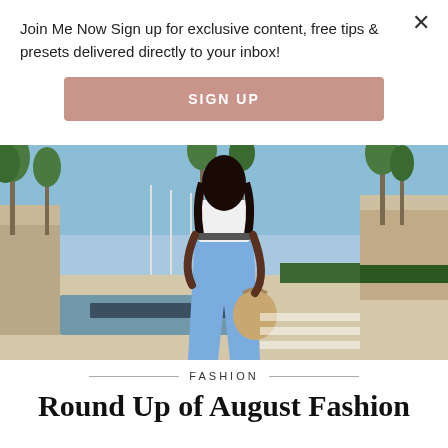Join Me Now Sign up for exclusive content, free tips & presets delivered directly to your inbox!
SIGN UP
[Figure (photo): Woman seen from behind wearing light blue pants and a white off-shoulder top, walking in an outdoor resort area with palm trees and stone architecture]
FASHION
Round Up of August Fashion